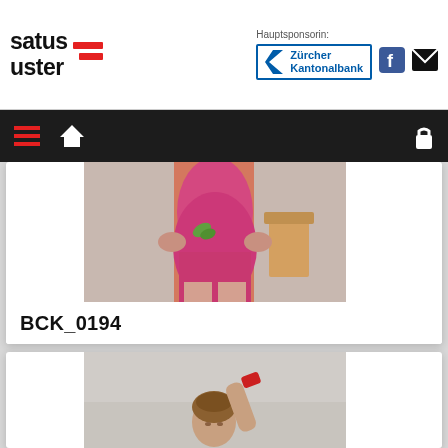[Figure (logo): Satus Uster logo with red horizontal bars and text 'satus uster']
Hauptsponsorin:
[Figure (logo): Zürcher Kantonalbank logo with blue chevron]
[Figure (logo): Facebook icon]
[Figure (logo): Mail/envelope icon]
[Figure (photo): Gymnast in pink/magenta leotard standing with hands on hips]
BCK_0194
[Figure (photo): Gymnast with braided hair raising arm, wearing red wristband]